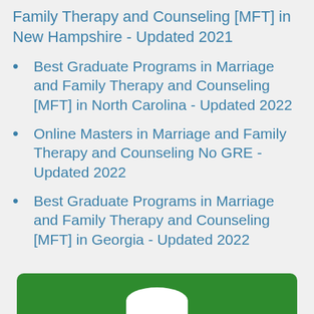Family Therapy and Counseling [MFT] in New Hampshire - Updated 2021
Best Graduate Programs in Marriage and Family Therapy and Counseling [MFT] in North Carolina - Updated 2022
Online Masters in Marriage and Family Therapy and Counseling No GRE - Updated 2022
Best Graduate Programs in Marriage and Family Therapy and Counseling [MFT] in Georgia - Updated 2022
[Figure (other): Green rounded rectangle bar at bottom with white semicircle icon, suggesting a navigation or banner element]